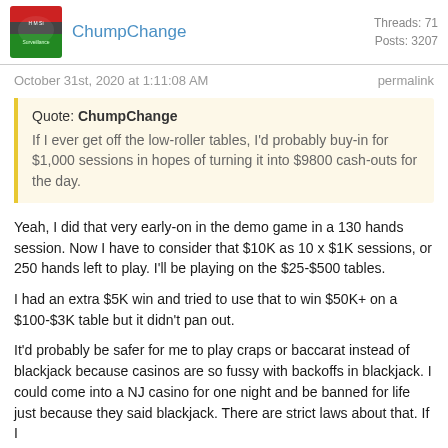ChumpChange — Threads: 71, Posts: 3207
October 31st, 2020 at 1:11:08 AM
permalink
Quote: ChumpChange
If I ever get off the low-roller tables, I'd probably buy-in for $1,000 sessions in hopes of turning it into $9800 cash-outs for the day.
Yeah, I did that very early-on in the demo game in a 130 hands session. Now I have to consider that $10K as 10 x $1K sessions, or 250 hands left to play. I'll be playing on the $25-$500 tables.
I had an extra $5K win and tried to use that to win $50K+ on a $100-$3K table but it didn't pan out.
It'd probably be safer for me to play craps or baccarat instead of blackjack because casinos are so fussy with backoffs in blackjack. I could come into a NJ casino for one night and be banned for life just because they said blackjack. There are strict laws about that. If I